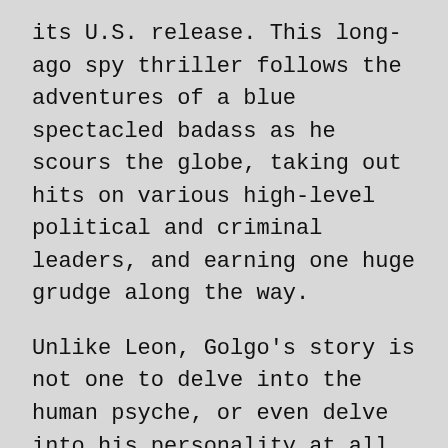its U.S. release. This long-ago spy thriller follows the adventures of a blue spectacled badass as he scours the globe, taking out hits on various high-level political and criminal leaders, and earning one huge grudge along the way.
Unlike Leon, Golgo's story is not one to delve into the human psyche, or even delve into his personality at all. Golgo remains a calm and controlled professional at all times, and has the sex appeal to make every girl in the room swoon on sight. So he really bears more resemblance to James Bond than Leon, though Bond has more personality and flare.